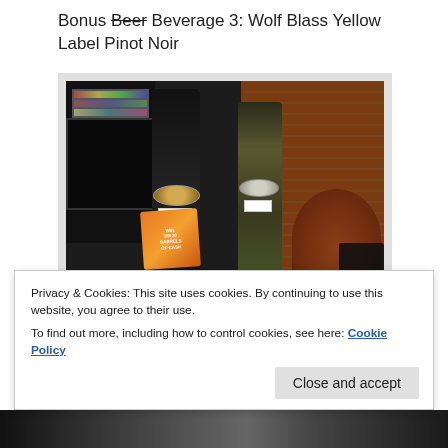Bonus Beer Beverage 3: Wolf Blass Yellow Label Pinot Noir
[Figure (photo): Two dark wine bottles (Wolf Blass Yellow Label Pinot Noir) with circular gold/silver labels. Left bottle has an orange promotional tag reading 'WIN 1 of 20 BARRELS of CASH'. Set against a dark background with brick wall on the right and a brown leather chair in the lower right corner. Magazines visible on a rack in the upper left.]
Privacy & Cookies: This site uses cookies. By continuing to use this website, you agree to their use.
To find out more, including how to control cookies, see here: Cookie Policy